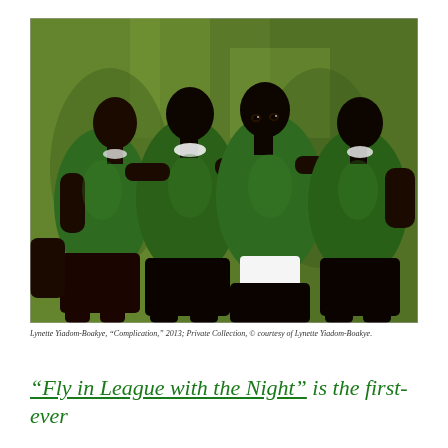[Figure (illustration): Painting by Lynette Yiadom-Boakye titled 'Complication' (2013). Four Black men in dark green short-sleeve shirts and black shorts stand together with arms around each other's shoulders. The background is a mottled olive-green. One figure wears white briefs visible at the hem. The figures are painted in a loose, expressive style.]
Lynette Yiadom-Boakye, "Complication," 2013; Private Collection, © courtesy of Lynette Yiadom-Boakye.
“Fly in League with the Night” is the first-ever